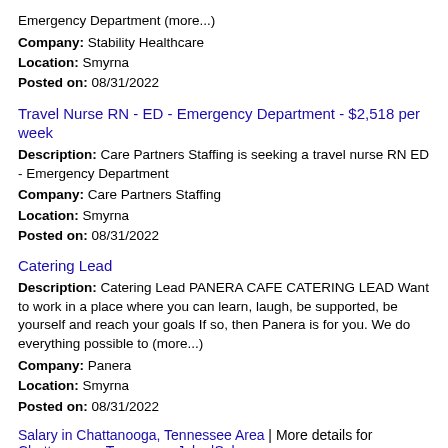Emergency Department (more...)
Company: Stability Healthcare
Location: Smyrna
Posted on: 08/31/2022
Travel Nurse RN - ED - Emergency Department - $2,518 per week
Description: Care Partners Staffing is seeking a travel nurse RN ED - Emergency Department
Company: Care Partners Staffing
Location: Smyrna
Posted on: 08/31/2022
Catering Lead
Description: Catering Lead PANERA CAFE CATERING LEAD Want to work in a place where you can learn, laugh, be supported, be yourself and reach your goals If so, then Panera is for you. We do everything possible to (more...)
Company: Panera
Location: Smyrna
Posted on: 08/31/2022
Salary in Chattanooga, Tennessee Area | More details for Chattanooga, Tennessee Jobs |Salary